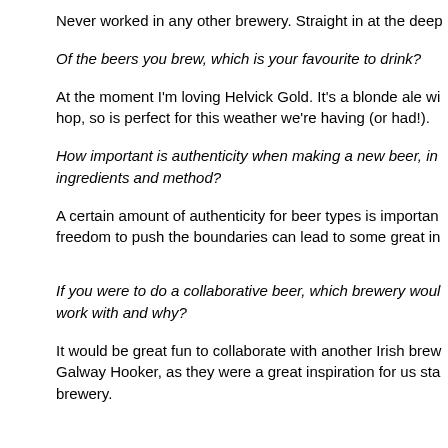Never worked in any other brewery. Straight in at the deep
Of the beers you brew, which is your favourite to drink?
At the moment I'm loving Helvick Gold. It's a blonde ale wi hop, so is perfect for this weather we're having (or had!).
How important is authenticity when making a new beer, in ingredients and method?
A certain amount of authenticity for beer types is importan freedom to push the boundaries can lead to some great in
If you were to do a collaborative beer, which brewery woul work with and why?
It would be great fun to collaborate with another Irish brew Galway Hooker, as they were a great inspiration for us sta brewery.